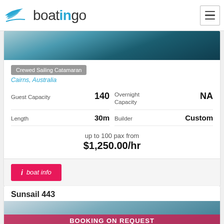[Figure (logo): Boatingo logo with boat icon and stylized text]
[Figure (photo): Aerial or side view of sailing catamaran on blue ocean water]
Crewed Sailing Catamaran
Cairns, Australia
| Guest Capacity | 140 | Overnight Capacity | NA |
| Length | 30m | Builder | Custom |
up to 100 pax from
$1,250.00/hr
boat info
Sunsail 443
[Figure (photo): Sailing boat on water with BOOKING ON REQUEST overlay]
BOOKING ON REQUEST